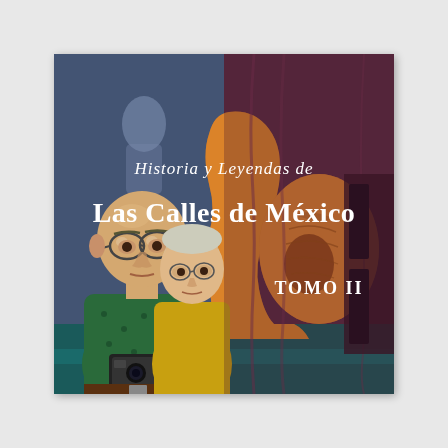[Figure (illustration): Book cover of 'Historia y Leyendas de Las Calles de México, Tomo II'. The cover painting depicts a bald man with glasses holding a camera (left side, blue-grey background), a woman in a yellow top beside him, a ghostly figure in the background, and on the right side a large yellow/orange pre-Columbian or abstract sculptural head/figure against a dark purple/maroon background. The title 'Historia y Leyendas de Las Calles de México' is written in white Gothic/blackletter typeface across the top and middle of the cover. 'TOMO II' appears in white text on the lower right.]